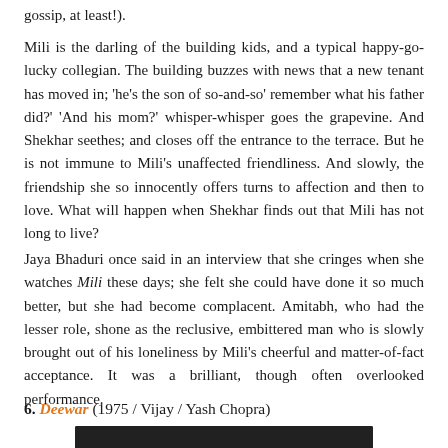gossip, at least!).
Mili is the darling of the building kids, and a typical happy-go-lucky collegian. The building buzzes with news that a new tenant has moved in; 'he's the son of so-and-so' remember what his father did?' 'And his mom?' whisper-whisper goes the grapevine. And Shekhar seethes; and closes off the entrance to the terrace. But he is not immune to Mili's unaffected friendliness. And slowly, the friendship she so innocently offers turns to affection and then to love. What will happen when Shekhar finds out that Mili has not long to live?
Jaya Bhaduri once said in an interview that she cringes when she watches Mili these days; she felt she could have done it so much better, but she had become complacent. Amitabh, who had the lesser role, shone as the reclusive, embittered man who is slowly brought out of his loneliness by Mili's cheerful and matter-of-fact acceptance. It was a brilliant, though often overlooked performance.
6. Deewar (1975 / Vijay / Yash Chopra)
[Figure (photo): Partial photo visible at bottom of page, appears to be a film still or production still from Deewar]